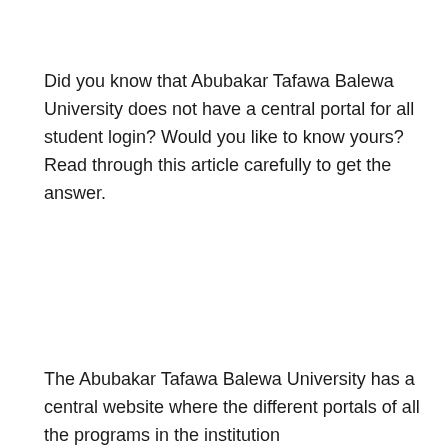Did you know that Abubakar Tafawa Balewa University does not have a central portal for all student login? Would you like to know yours? Read through this article carefully to get the answer.
The Abubakar Tafawa Balewa University has a central website where the different portals of all the programs in the institution